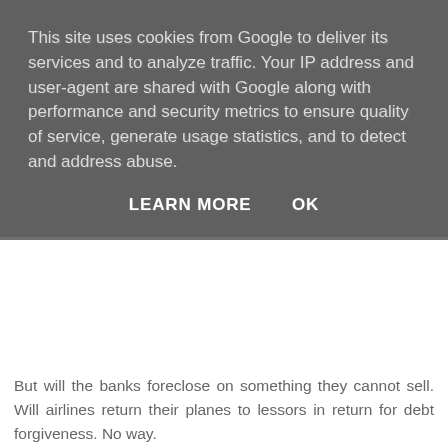This site uses cookies from Google to deliver its services and to analyze traffic. Your IP address and user-agent are shared with Google along with performance and security metrics to ensure quality of service, generate usage statistics, and to detect and address abuse.
LEARN MORE   OK
But will the banks foreclose on something they cannot sell. Will airlines return their planes to lessors in return for debt forgiveness. No way.
We are all stuck with the useless assets and burdensome debts via our pension funds. May as well get used to it.
Reply
Matt 8:30 pm
@ Anonymous
Open a SIPP for your pension if you can. You probably won't do any worse than the casino funds anyway and you